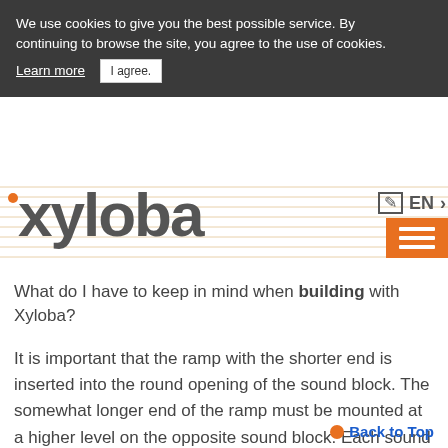We use cookies to give you the best possible service. By continuing to browse the site, you agree to the use of cookies. Learn more | I agree.
[Figure (logo): Xyloba logo with orange dot and stylized text on striped background with orange hamburger menu and EN language selector]
What do I have to keep in mind when building with Xyloba?
It is important that the ramp with the shorter end is inserted into the round opening of the sound block. The somewhat longer end of the ramp must be mounted at a higher level on the opposite sound block. Each sound block has 4 outlets for the ramps. There is, however, only one inlet.
Back to Top